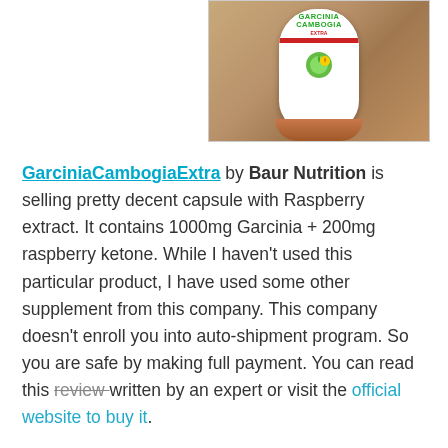[Figure (photo): A white bottle of Garcinia Cambogia Extra supplement on a wooden surface, photographed from above]
GarciniaCambogiaExtra by Baur Nutrition is selling pretty decent capsule with Raspberry extract. It contains 1000mg Garcinia + 200mg raspberry ketone. While I haven't used this particular product, I have used some other supplement from this company. This company doesn't enroll you into auto-shipment program. So you are safe by making full payment. You can read this review written by an expert or visit the official website to buy it.